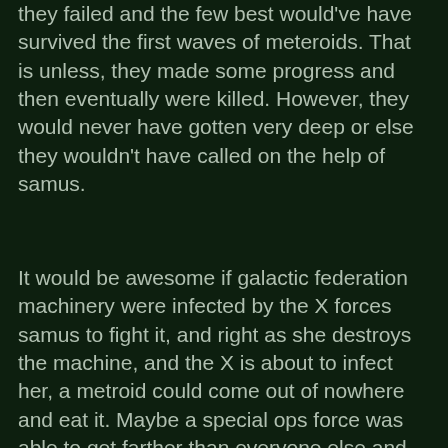they failed and the few best would've have survived the first waves of meteroids. That is unless, they made some progress and then eventually were killed. However, they would never have gotten very deep or else they wouldn't have called on the help of samus.
It would be awesome if galactic federation machinery were infected by the X forces samus to fight it, and right as she destroys the machine, and the X is about to infect her, a metroid could come out of nowhere and eat it. Maybe a special ops force was able to get farther than everyone else and then died.
June 3, 2008 at 10:22 PM
Anonymous said...
Alright, you may not know, but I'm the guy who suggested about the Federation Troops. Alright, so, what if one of the caves was a deserted area, the site where X Parasites were at? I would also would love to see a lot more of Chozo-made areas, and some more